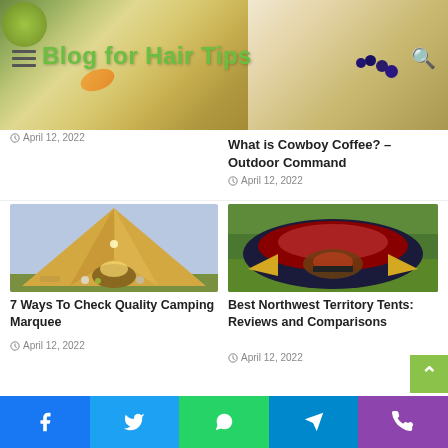Blog for Hair Tips
April 12, 2022
What is Cowboy Coffee? – Outdoor Command
April 12, 2022
[Figure (photo): Illuminated glamping bell tent interior at night with warm lighting]
7 Ways To Check Quality Camping Marquee
April 12, 2022
[Figure (photo): Colorful dome camping tent on green grass, Northwest Territory brand]
Best Northwest Territory Tents: Reviews and Comparisons
April 12, 2022
Facebook Twitter WhatsApp Telegram Phone social sharing bar